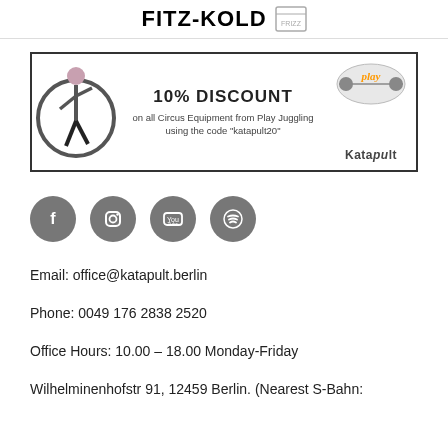fitz-kold
[Figure (illustration): Advertisement banner with 10% DISCOUNT on all Circus Equipment from Play Juggling using the code 'katapult20'. Shows a person with a hula hoop on the left and Play Juggling and Katapult logos on the right.]
[Figure (illustration): Row of four social media icon circles (Facebook, Instagram, YouTube, Spotify) in dark gray.]
Email: office@katapult.berlin
Phone: 0049 176 2838 2520
Office Hours: 10.00 – 18.00 Monday-Friday
Wilhelminenhofstr 91, 12459 Berlin. (Nearest S-Bahn: